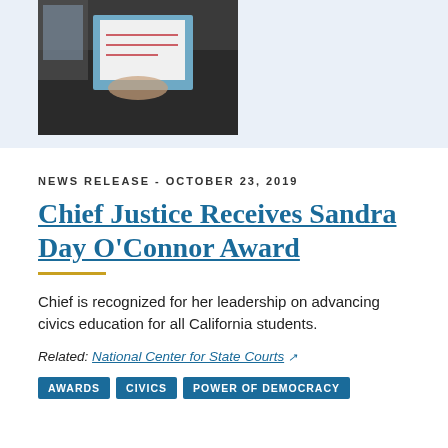[Figure (photo): Photo of a person holding documents near what appears to be a laptop or document scanner]
NEWS RELEASE - OCTOBER 23, 2019
Chief Justice Receives Sandra Day O'Connor Award
Chief is recognized for her leadership on advancing civics education for all California students.
Related: National Center for State Courts
AWARDS
CIVICS
POWER OF DEMOCRACY